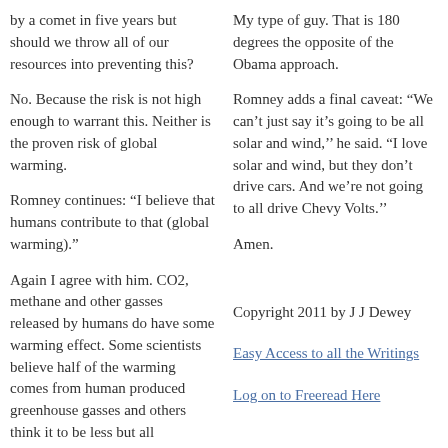by a comet in five years but should we throw all of our resources into preventing this?
No. Because the risk is not high enough to warrant this. Neither is the proven risk of global warming.
Romney continues: “I believe that humans contribute to that (global warming).”
Again I agree with him. CO2, methane and other gasses released by humans do have some warming effect. Some scientists believe half of the warming comes from human produced greenhouse gasses and others think it to be less but all acknowledge that
My type of guy. That is 180 degrees the opposite of the Obama approach.
Romney adds a final caveat: “We can’t just say it’s going to be all solar and wind,’’ he said. “I love solar and wind, but they don’t drive cars. And we’re not going to all drive Chevy Volts.’’
Amen.
Copyright 2011 by J J Dewey
Easy Access to all the Writings
Log on to Freeread Here